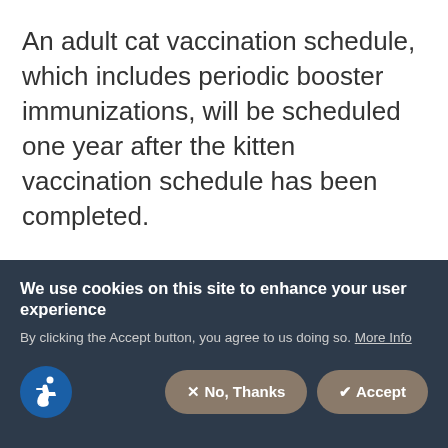An adult cat vaccination schedule, which includes periodic booster immunizations, will be scheduled one year after the kitten vaccination schedule has been completed.
As with any other immunization protocol, a cat vaccination schedule should be adhered to without deviation, in order to ensure your cat remains healthy and well for the duration of his or her life. We cannot control all health issues but we can prevent the majority of infectious disease
We use cookies on this site to enhance your user experience
By clicking the Accept button, you agree to us doing so. More Info